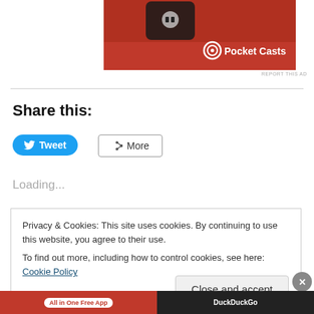[Figure (screenshot): Pocket Casts app advertisement showing a red smartwatch/phone with media controls and Pocket Casts logo]
REPORT THIS AD
Share this:
Tweet
More
Loading...
Privacy & Cookies: This site uses cookies. By continuing to use this website, you agree to their use.
To find out more, including how to control cookies, see here: Cookie Policy
Close and accept
[Figure (screenshot): Bottom advertisement bar with 'All in One Free App' button on red background and DuckDuckGo on dark background]